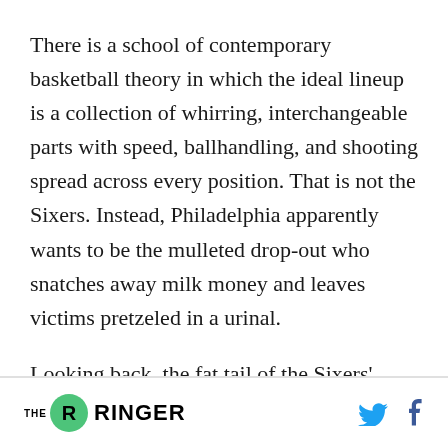There is a school of contemporary basketball theory in which the ideal lineup is a collection of whirring, interchangeable parts with speed, ballhandling, and shooting spread across every position. That is not the Sixers. Instead, Philadelphia apparently wants to be the mulleted drop-out who snatches away milk money and leaves victims pretzeled in a urinal.
Looking back, the fat tail of the Sixers' fetish for big-boy units goes back to the Markelle Fultz debacle. The top overall pick in the 2017 draft was...
THE RINGER [logo with social icons]